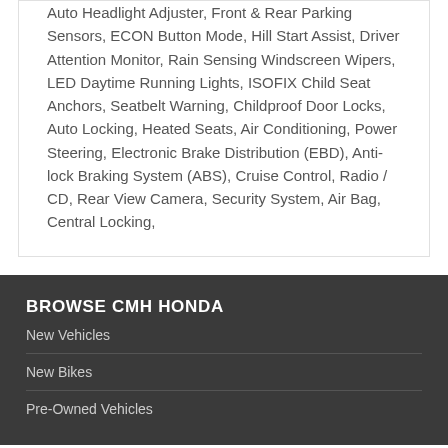Auto Headlight Adjuster, Front & Rear Parking Sensors, ECON Button Mode, Hill Start Assist, Driver Attention Monitor, Rain Sensing Windscreen Wipers, LED Daytime Running Lights, ISOFIX Child Seat Anchors, Seatbelt Warning, Childproof Door Locks, Auto Locking, Heated Seats, Air Conditioning, Power Steering, Electronic Brake Distribution (EBD), Anti-lock Braking System (ABS), Cruise Control, Radio / CD, Rear View Camera, Security System, Air Bag, Central Locking,
BROWSE CMH HONDA
New Vehicles
New Bikes
Pre-Owned Vehicles